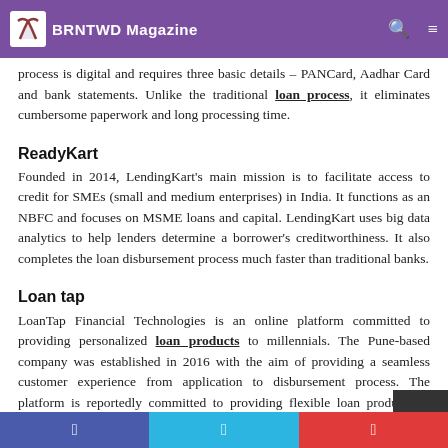BRNTWD Magazine
process is digital and requires three basic details – PANCard, Aadhar Card and bank statements. Unlike the traditional loan process, it eliminates cumbersome paperwork and long processing time.
ReadyKart
Founded in 2014, LendingKart's main mission is to facilitate access to credit for SMEs (small and medium enterprises) in India. It functions as an NBFC and focuses on MSME loans and capital. LendingKart uses big data analytics to help lenders determine a borrower's creditworthiness. It also completes the loan disbursement process much faster than traditional banks.
Loan tap
LoanTap Financial Technologies is an online platform committed to providing personalized loan products to millennials. The Pune-based company was established in 2016 with the aim of providing a seamless customer experience from application to disbursement process. The platform is reportedly committed to providing flexible loan products to salaried professionals. LoanTap offers loans to help millennials live the life they want. The company is said to offer quick personal loans on favorable terms to the customers. LoanTap's goal is to delight its customers by helping them choose the